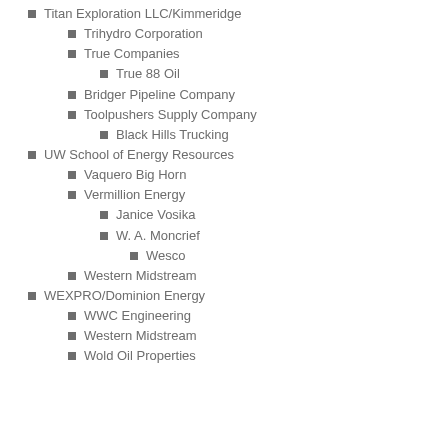Titan Exploration LLC/Kimmeridge
Trihydro Corporation
True Companies
True 88 Oil
Bridger Pipeline Company
Toolpushers Supply Company
Black Hills Trucking
UW School of Energy Resources
Vaquero Big Horn
Vermillion Energy
Janice Vosika
W. A. Moncrief
Wesco
Western Midstream
WEXPRO/Dominion Energy
WWC Engineering
Western Midstream
Wold Oil Properties